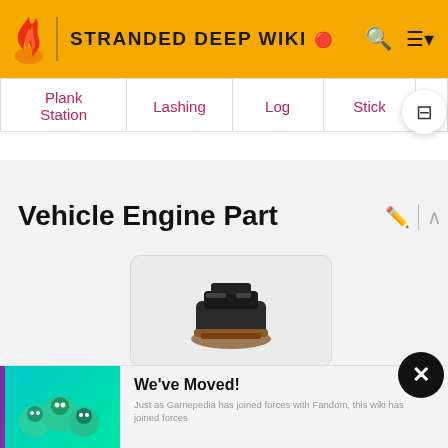STRANDED DEEP WIKI
| Plank Station | Lashing | Log | Stick |
| --- | --- | --- | --- |
Vehicle Engine Part
[Figure (photo): Vehicle Engine Part item image - a dark engine component on a brown base]
We've Moved! Just as Gamepedia has joined forces with Fandom, this wiki has joined forces...
READ MORE
Used for... and gyrocop...
[Figure (infographic): Best Buy advertisement: Top TVs as low as $89.99]